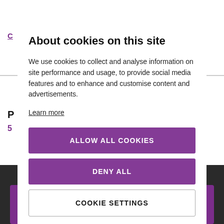About cookies on this site
We use cookies to collect and analyse information on site performance and usage, to provide social media features and to enhance and customise content and advertisements.
Learn more
ALLOW ALL COOKIES
DENY ALL
COOKIE SETTINGS